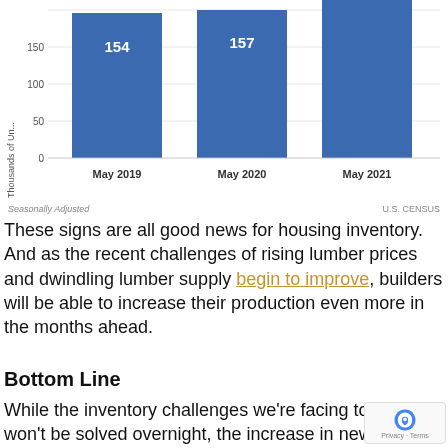[Figure (bar-chart): New Home Construction]
Seasonally Adjusted    U.S. CENSUS
These signs are all good news for housing inventory. And as the recent challenges of rising lumber prices and dwindling lumber supply begin to improve, builders will be able to increase their production even more in the months ahead.
Bottom Line
While the inventory challenges we're facing too won't be solved overnight, the increase in new-